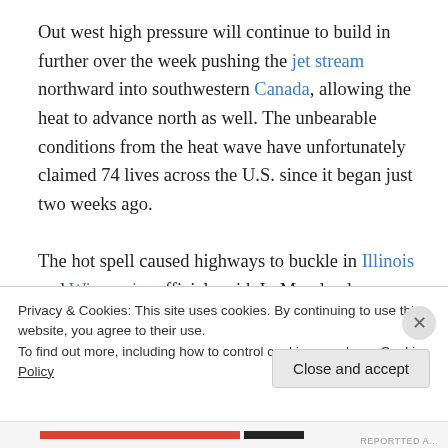Out west high pressure will continue to build in further over the week pushing the jet stream northward into southwestern Canada, allowing the heat to advance north as well. The unbearable conditions from the heat wave have unfortunately claimed 74 lives across the U.S. since it began just two weeks ago.
The hot spell caused highways to buckle in Illinois and Wisconsin, officials said. In Maryland, investigators said heat likely caused rails to kink and led a commuter train to
Privacy & Cookies: This site uses cookies. By continuing to use this website, you agree to their use.
To find out more, including how to control cookies, see here: Cookie Policy
Close and accept